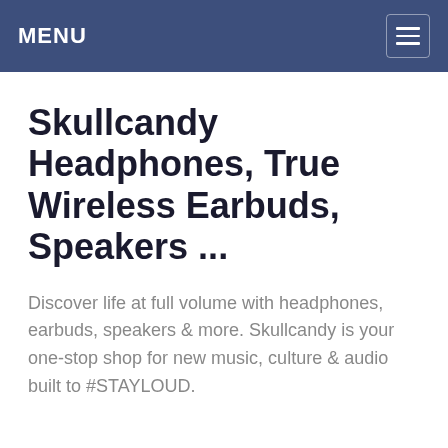MENU
Skullcandy Headphones, True Wireless Earbuds, Speakers ...
Discover life at full volume with headphones, earbuds, speakers & more. Skullcandy is your one-stop shop for new music, culture & audio built to #STAYLOUD.
who is the inventor of the washer